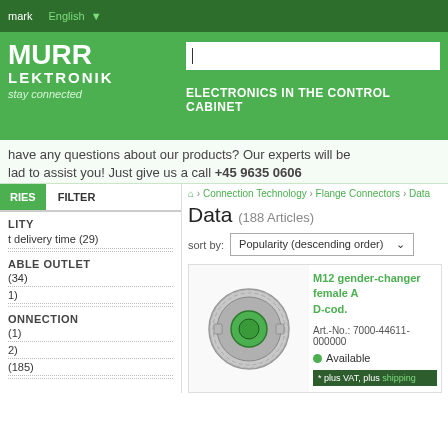denmark | English | MURR ELEKTRONIK stay connected | ELECTRONICS IN THE CONTROL CABINET
Have any questions about our products? Our experts will be glad to assist you! Just give us a call +45 9635 0606
Connection Technology › Flange Connectors › Data
Data (188 Articles)
sort by: Popularity (descending order)
RIES | FILTER
LITY
t delivery time (29)
ABLE OUTLET
(34)
(1)
ONNECTION
(1)
(2)
(185)
M12 gender-changer female A D-cod.
Art.-No.: 7000-44611-000000
Available
* plus VAT, plus shipping